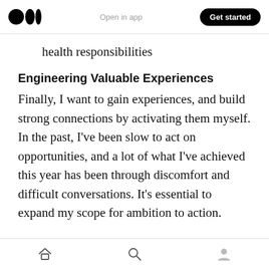Medium logo | Open in app | Get started
health responsibilities
Engineering Valuable Experiences
Finally, I want to gain experiences, and build strong connections by activating them myself. In the past, I've been slow to act on opportunities, and a lot of what I've achieved this year has been through discomfort and difficult conversations. It's essential to expand my scope for ambition to action.
This custom is accompanying me into 2022, in the driver's seat — since I don't have my learners
Home | Search | Profile